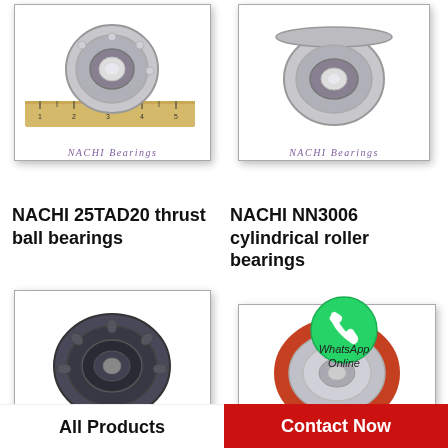[Figure (photo): NACHI 25TAD20 thrust ball bearing shown with a ruler, NACHI Bearings watermark below]
[Figure (photo): NACHI NN3006 cylindrical roller bearing, NACHI Bearings watermark below]
NACHI 25TAD20 thrust ball bearings
NACHI NN3006 cylindrical roller bearings
[Figure (photo): NACHI cylindrical roller bearing (dark/grey), NACHI Bearings watermark below]
[Figure (photo): NACHI bearing with red/orange seal, WhatsApp Online icon overlay, NACHI Bearings watermark below]
All Products
Contact Now